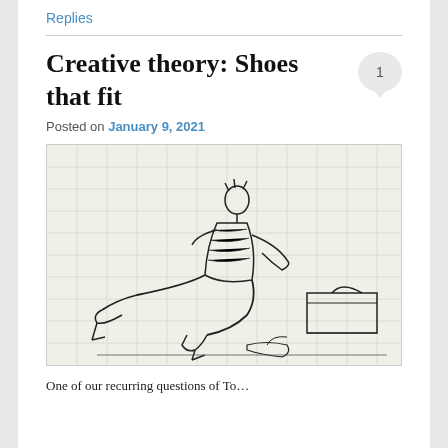Replies
Creative theory: Shoes that fit
Posted on January 9, 2021
[Figure (illustration): Pencil sketch on graph paper of a person sitting on the floor trying on shoes, with a shoe box nearby and scattered shoes around them.]
One of our recurring questions of To…